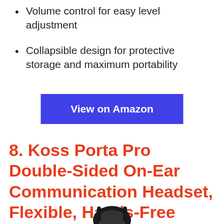Volume control for easy level adjustment
Collapsible design for protective storage and maximum portability
[Figure (other): Blue 'View on Amazon' button]
8. Koss Porta Pro Double-Sided On-Ear Communication Headset, Flexible, Hands-Free Electret Microphone, Collapsible Design, Wired 3.5mm TRRS Plug, Black
[Figure (photo): Partial product image of the headset, cut off at bottom of page]